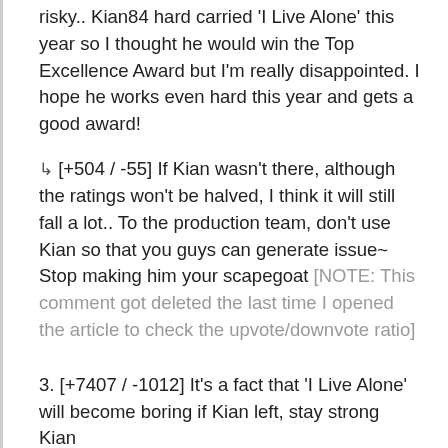risky.. Kian84 hard carried 'I Live Alone' this year so I thought he would win the Top Excellence Award but I'm really disappointed. I hope he works even hard this year and gets a good award!
↳ [+504 / -55] If Kian wasn't there, although the ratings won't be halved, I think it will still fall a lot.. To the production team, don't use Kian so that you guys can generate issue~ Stop making him your scapegoat [NOTE: This comment got deleted the last time I opened the article to check the upvote/downvote ratio]
3. [+7407 / -1012] It's a fact that 'I Live Alone' will become boring if Kian left, stay strong Kian
4. [+4175 / -100] Uhljang-nim explained it properly today. Because he explained it really calmly, Kian's award speech isn't weird. The fact that it sounds this different just through intonation, daebak 🤭 These days, he